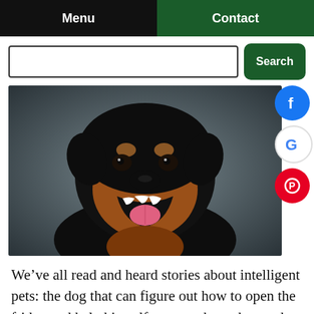Menu | Contact
[Figure (screenshot): Search bar with input field and green Search button]
[Figure (photo): Close-up photo of a happy Rottweiler dog with mouth open and tongue out, against a dark gray background]
We’ve all read and heard stories about intelligent pets: the dog that can figure out how to open the fridge and help himself to a snack, or the cat that s or sad family member to snuggle with a